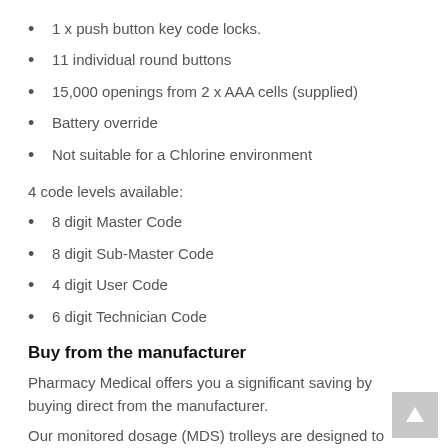1 x push button key code locks.
11 individual round buttons
15,000 openings from 2 x AAA cells (supplied)
Battery override
Not suitable for a Chlorine environment
4 code levels available:
8 digit Master Code
8 digit Sub-Master Code
4 digit User Code
6 digit Technician Code
Buy from the manufacturer
Pharmacy Medical offers you a significant saving by buying direct from the manufacturer.
Our monitored dosage (MDS) trolleys are designed to complement our range of controlled drugs cabinets.